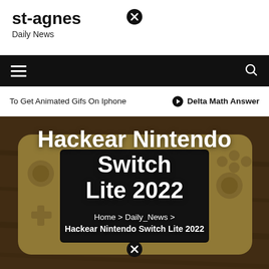st-agnes
Daily News
≡   🔍
To Get Animated Gifs On Iphone   ⊙ Delta Math Answer
[Figure (photo): Close-up photo of a gold/yellow Nintendo Switch Lite handheld gaming console on a wooden surface]
Hackear Nintendo Switch Lite 2022
Home > Daily_News > Hackear Nintendo Switch Lite 2022